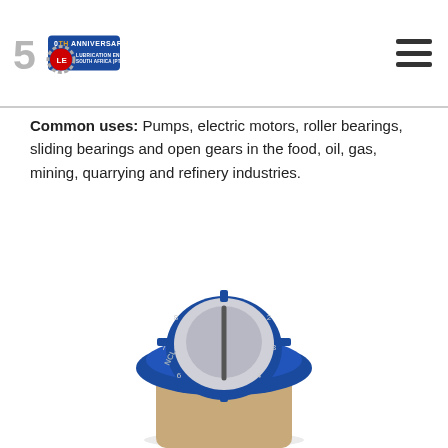[Figure (logo): Lubrication Engineers South Africa (Pty) Ltd 50th Anniversary logo with large silver '5', '0TH ANNIVERSARY' text in blue, and LE gear badge]
Common uses: Pumps, electric motors, roller bearings, sliding bearings and open gears in the food, oil, gas, mining, quarrying and refinery industries.
[Figure (photo): Close-up photograph of a blue and grey industrial grease/lubricant dispenser cap with numbered dial markings, top-down view]